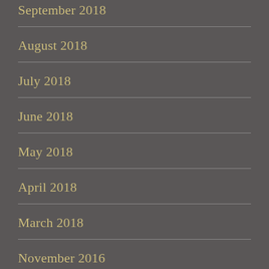September 2018
August 2018
July 2018
June 2018
May 2018
April 2018
March 2018
November 2016
October 2016